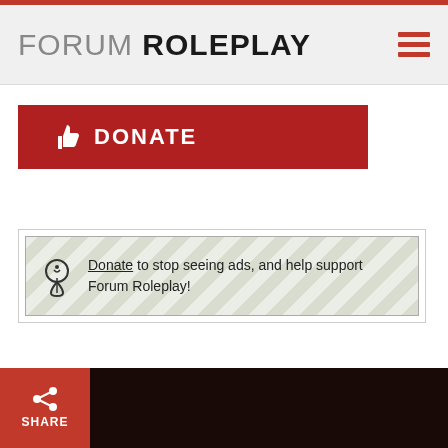FORUM ROLEPLAY
[Figure (screenshot): Red DONATE button with thumbs-up icon]
Donate to stop seeing ads, and help support Forum Roleplay!